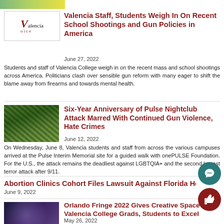[Figure (photo): Colorful banner image at top of page]
[Figure (logo): Valencia Voice logo with stylized V and text]
Valencia Staff, Students Weigh In On Recent School Shootings and Gun Policies in America
June 27, 2022
Students and staff of Valencia College weigh in on the recent mass and school shootings across America. Politicians clash over sensible gun reform with many eager to shift the blame away from firearms and towards mental health.
[Figure (photo): Outdoor memorial or event with colorful decorations]
Six-Year Anniversary of Pulse Nightclub Attack Marred With Continued Gun Violence, Hate Crimes
June 12, 2022
On Wednesday, June 8, Valencia students and staff from across the various campuses arrived at the Pulse Interim Memorial site for a guided walk with onePULSE Foundation. For the U.S., the attack remains the deadliest against LGBTQIA+ and the second largest terror attack after 9/11.
Abortion Clinics Cohort Files Lawsuit Against Florida House Bill
June 9, 2022
[Figure (photo): Performance or stage photo with performers]
Orlando Fringe 2022 Gives Creative Space for Valencia College Grads, Students to Excel
May 26, 2022